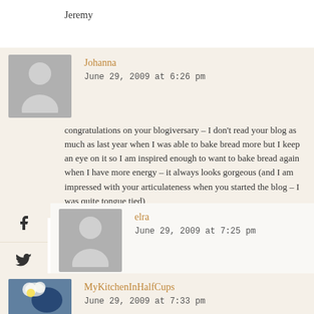Jeremy
Johanna
June 29, 2009 at 6:26 pm

congratulations on your blogiversary – I don't read your blog as much as last year when I was able to bake bread more but I keep an eye on it so I am inspired enough to want to bake bread again when I have more energy – it always looks gorgeous (and I am impressed with your articulateness when you started the blog – I was quite tongue tied)
[Figure (infographic): Social sharing sidebar with Facebook, Twitter, Google+, Pinterest, and email buttons]
elra
June 29, 2009 at 7:25 pm

Congratulation Susan! Through your blog, I learn a lot about bread.So, I thank you for that…
MyKitchenInHalfCups
June 29, 2009 at 7:33 pm